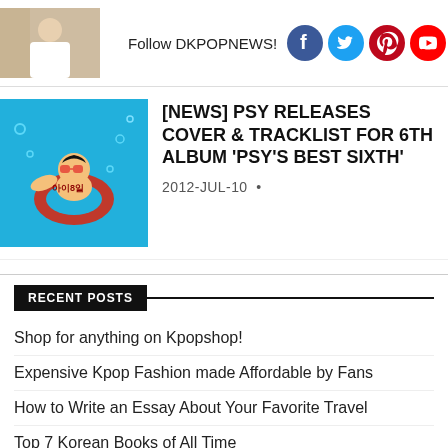[Figure (photo): Thumbnail image of a person in white shirt]
Follow DKPOPNEWS!
[Figure (logo): Social media icons: Facebook, Twitter, Pinterest, YouTube, Instagram]
[Figure (illustration): PSY album cover art showing animated swimmer with goggles on red inner tube in blue water]
[NEWS] PSY RELEASES COVER & TRACKLIST FOR 6TH ALBUM 'PSY'S BEST SIXTH'
2012-JUL-10  •
RECENT POSTS
Shop for anything on Kpopshop!
Expensive Kpop Fashion made Affordable by Fans
How to Write an Essay About Your Favorite Travel
Top 7 Korean Books of All Time
How to Start KPOP Blog and Earn from It
Book Expo Shows Off Some Jurassic Haining Stocking